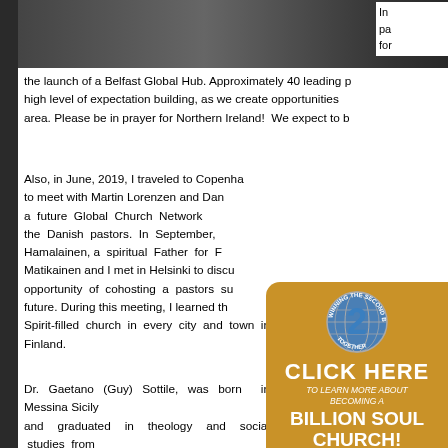[Figure (photo): Black and white photo of two people at top of page]
In pa for
the launch of a Belfast Global Hub. Approximately 40 leading high level of expectation building, as we create opportunities area. Please be in prayer for Northern Ireland!  We expect to b
Also, in June, 2019, I traveled to Copenhagen to meet with Martin Lorenzen and Dan a future Global Church Network the Danish pastors. In September, Hamalainen, a spiritual Father for F Matikainen and I met in Helsinki to discu opportunity of cohosting a pastors su future. During this meeting, I learned th Spirit-filled church in every city and town in Finland. Dr. Gaetano (Guy) Sottile, was born in Messina Sicily and graduated in theology and social studies from Columbia International University in 1979. In 1983 he founded Italy for Christ, of which he is the President, with offices in Atlanta (GA/USA) and Rome (Italy). He is also t Evangelical Churches (ACCEI), with more than 200 churches
[Figure (infographic): Gold/yellow circular badge with globe showing number 2, text CLICK HERE TO LEARN MORE ABOUT BECOMING A BILLION SOUL CHURCH!]